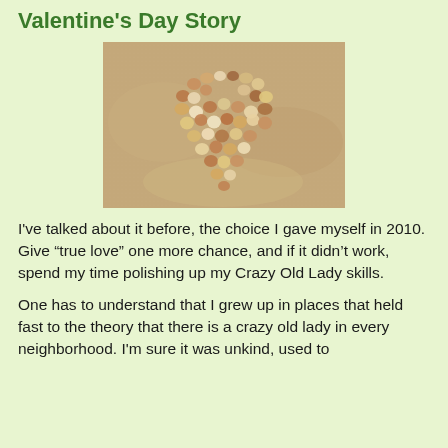Valentine's Day Story
[Figure (photo): A heart shape made of sea shells and pebbles arranged on sandy beach]
I've talked about it before, the choice I gave myself in 2010. Give “true love” one more chance, and if it didn’t work, spend my time polishing up my Crazy Old Lady skills.
One has to understand that I grew up in places that held fast to the theory that there is a crazy old lady in every neighborhood. I'm sure it was unkind, used to